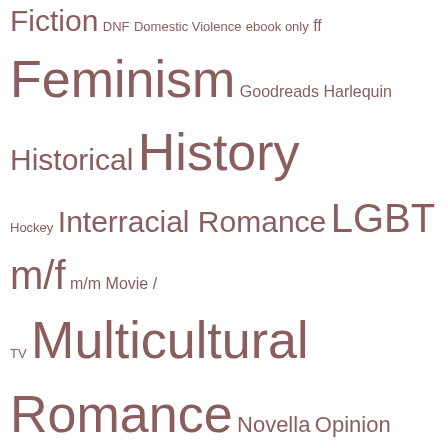Fiction DNF Domestic Violence ebook only ff Feminism Goodreads Harlequin Historical History Hockey Interracial Romance LGBT m/f m/m Movie / TV Multicultural Romance Novella Opinion Racism Reader Perspective Regency Series Sexuality SFF Sports Victorian Videogames WM WW
Recent Comments
http://www.rushessaysbest.com on Links: Me Before You Edition
Autism News, 2016/06/23 | Ada Hoffmann on Links: Me Before You Edition
Links of the Week 6/8/16 | Kink Praxis on Links: Me Before You Edition
Erin Burns on Links: Me Before You Edition
willaful on Remembering Meoskop